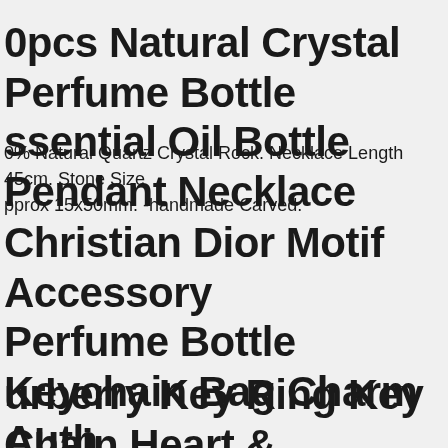0pcs Natural Crystal Perfume Bottle Essential Oil Bottle Pendant Necklace
0% Natural Quartz Crystal Rock. Necklace Length 45cm. Stone Size approx 15x50mm. -handmade Carved.
Christian Dior Motif Accessory Perfume Bottle Keychain Bag Charm Auth
urberry Key Ring Key Chain Heart & Perfume Bottle F/s From Japan